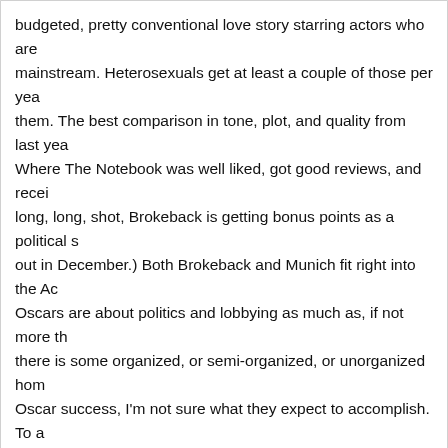budgeted, pretty conventional love story starring actors who are mainstream. Heterosexuals get at least a couple of those per year for them. The best comparison in tone, plot, and quality from last year. Where The Notebook was well liked, got good reviews, and recei long, long, shot, Brokeback is getting bonus points as a political s out in December.) Both Brokeback and Munich fit right into the Ac Oscars are about politics and lobbying as much as, if not more th there is some organized, or semi-organized, or unorganized hom Oscar success, I'm not sure what they expect to accomplish. To a Mountain Best Picture Oscar win would just further confirm that " with most of the country." I don't see any benefit to it politically or the converted.
Rufus Masters says: December 28, 2005 at 11:52 am
Liz Smith is all for it. That says enough to me about gay writers p
djk813 says: December 28, 2005 at 11:52 am
And I just realized that Walk on Water would make a perfect com Mountain camp and the Munich camp. And it's better than both.